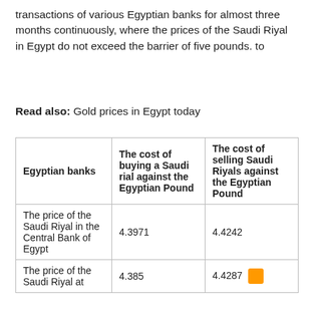transactions of various Egyptian banks for almost three months continuously, where the prices of the Saudi Riyal in Egypt do not exceed the barrier of five pounds. to
Read also: Gold prices in Egypt today
| Egyptian banks | The cost of buying a Saudi rial against the Egyptian Pound | The cost of selling Saudi Riyals against the Egyptian Pound |
| --- | --- | --- |
| The price of the Saudi Riyal in the Central Bank of Egypt | 4.3971 | 4.4242 |
| The price of the Saudi Riyal at | 4.385 | 4.4287 |